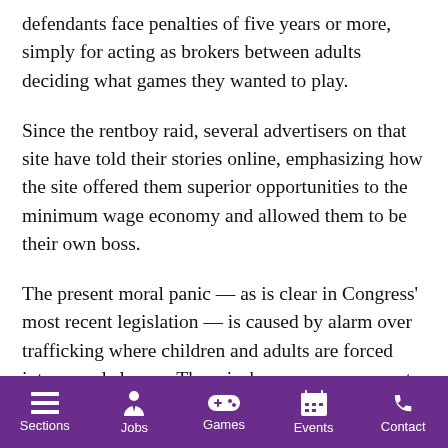defendants face penalties of five years or more, simply for acting as brokers between adults deciding what games they wanted to play.
Since the rentboy raid, several advertisers on that site have told their stories online, emphasizing how the site offered them superior opportunities to the minimum wage economy and allowed them to be their own boss.
The present moral panic — as is clear in Congress' most recent legislation — is caused by alarm over trafficking where children and adults are forced into sexual slavery. There is, however, no reason to believe that independent sex workers, like those on rentboy, have anything to do with trafficking. Trafficking has no more to do with the sex work
Sections | Jobs | Games | Events | Contact